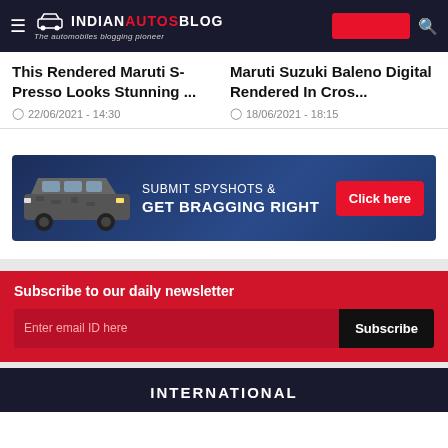IndianAutosBlog — The automobiles blogging pioneer
This Rendered Maruti S-Presso Looks Stunning ...
22/06/2021 - 14:30
Maruti Suzuki Baleno Digital Rendered In Cros...
18/06/2021 - 18:15
[Figure (infographic): Submit Spyshots & Get Bragging Right banner with a camouflaged car and a red Click here button]
Subscribe to our daily newsletter
Enter email ID here
Subscribe
INTERNATIONAL